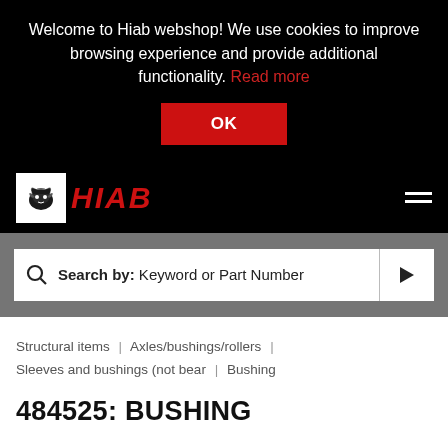Welcome to Hiab webshop! We use cookies to improve browsing experience and provide additional functionality. Read more
OK
[Figure (logo): Hiab logo with stylized ram icon and red HIAB text in italic on black background]
Search by: Keyword or Part Number
Structural items | Axles/bushings/rollers | Sleeves and bushings (not bear | Bushing
484525: BUSHING